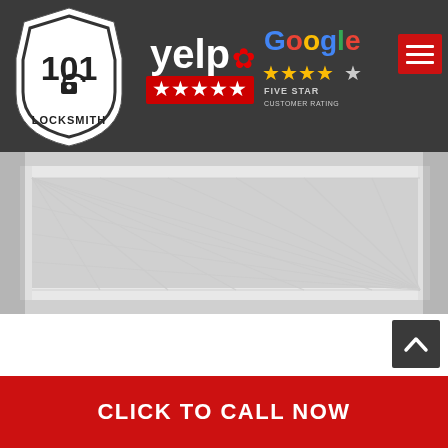[Figure (logo): 101 Locksmith logo — highway shield shape with '101' and 'LOCKSMITH' text, black and white]
[Figure (logo): Yelp five-star rating badge with red stars]
[Figure (logo): Google Five Star Customer Rating badge with gold stars]
[Figure (photo): Close-up photo of a white metal gate with diamond-pattern expanded metal mesh]
[Figure (other): Scroll-to-top button (dark grey square with white up-chevron)]
CLICK TO CALL NOW